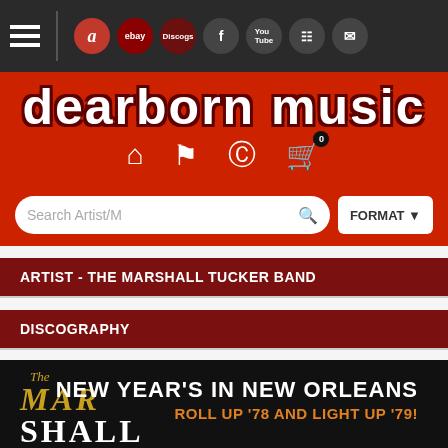[Figure (screenshot): Dearborn Music website screenshot showing top navigation bar with hamburger menu and social/marketplace icons (Amazon, eBay, Discogs, Facebook, YouTube, Instagram, Email)]
Dearborn Music
ARTIST - THE MARSHALL TUCKER BAND
DISCOGRAPHY
[Figure (photo): Album artwork for The Marshall Tucker Band 'New Year's In New Orleans - Roll Up '78 And Light Up '79!' showing the band logo in gold/white on dark background with text overlay]